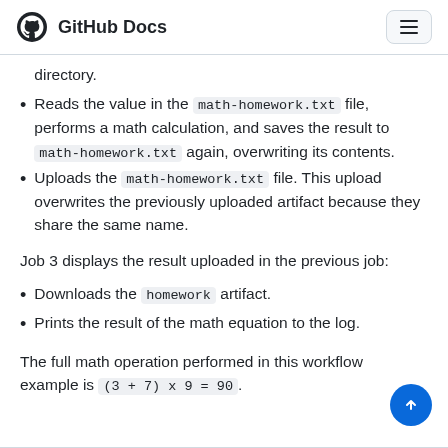GitHub Docs
directory.
Reads the value in the math-homework.txt file, performs a math calculation, and saves the result to math-homework.txt again, overwriting its contents.
Uploads the math-homework.txt file. This upload overwrites the previously uploaded artifact because they share the same name.
Job 3 displays the result uploaded in the previous job:
Downloads the homework artifact.
Prints the result of the math equation to the log.
The full math operation performed in this workflow example is (3 + 7) x 9 = 90.